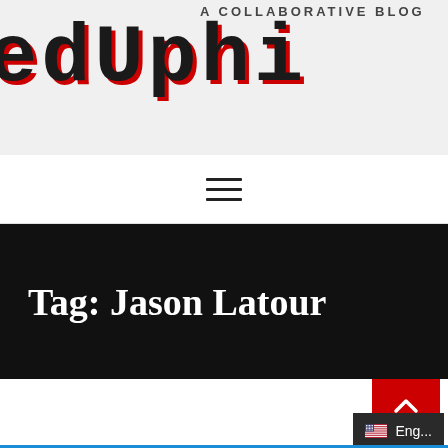[Figure (logo): Pixel-art style blog logo showing 'REDUPHI...' text in dark blocky letters with red shadow, subtitle reads 'A COLLABORATIVE BLOG...']
[Figure (infographic): Hamburger menu icon with three horizontal lines]
Tag: Jason Latour
[Figure (infographic): Bottom content area with scroll-to-top red button showing upward chevron, and language selector showing US flag and 'Eng...' text]